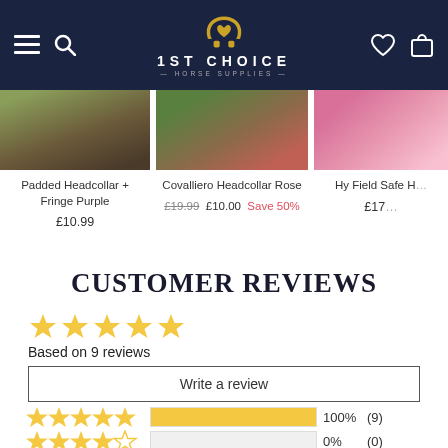1ST CHOICE HORSE SUPPLIES
Padded Headcollar + Fringe Purple
£10.99
Covalliero Headcollar Rose
£19.99  £10.00  Save 50%
Hy Field Safe H...
£17...
CUSTOMER REVIEWS
Based on 9 reviews
Write a review
[Figure (infographic): Star rating bar chart showing 100% (9) for 5-star and 0% (0) for 4-star reviews]